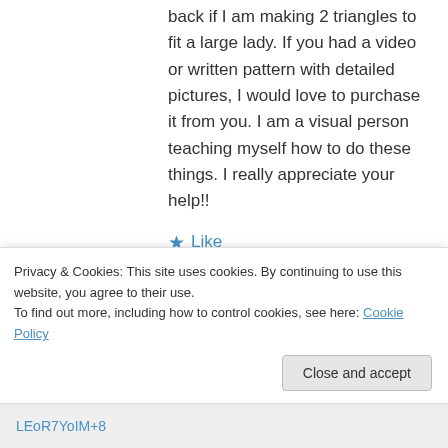back if I am making 2 triangles to fit a large lady. If you had a video or written pattern with detailed pictures, I would love to purchase it from you. I am a visual person teaching myself how to do these things. I really appreciate your help!!
★ Like
↪ Reply
tottietalkscrafts on December 18, 2016 at 5:39 pm
Privacy & Cookies: This site uses cookies. By continuing to use this website, you agree to their use.
To find out more, including how to control cookies, see here: Cookie Policy
Close and accept